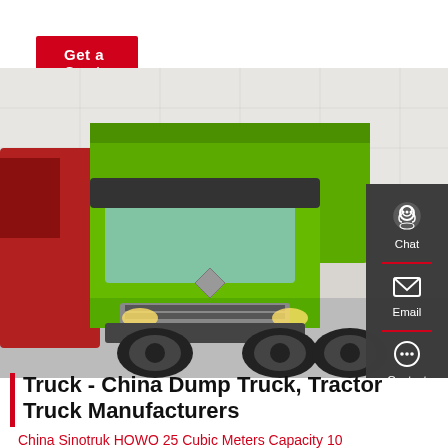Get a Quote
[Figure (photo): Green Sinotruk HOWO dump truck displayed in an exhibition hall, with a red truck partially visible on the left side. The truck features a bright green exterior with chrome grill details and large tires.]
Truck - China Dump Truck, Tractor Truck Manufacturers
China Sinotruk HOWO 25 Cubic Meters Capacity 10